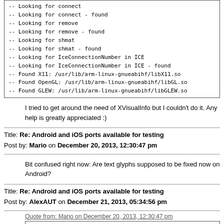[Figure (screenshot): Terminal/code output box showing CMake lookup messages for connect, remove, shmat, IceConnectionNumber, X11, OpenGL, and GLEW libraries]
I tried to get around the need of XVisualInfo but I couldn't do it. Any help is greatly appreciated :)
Title: Re: Android and iOS ports available for testing
Post by: Mario on December 20, 2013, 12:30:47 pm
Bit confused right now: Are text glyphs supposed to be fixed now on Android?
Title: Re: Android and iOS ports available for testing
Post by: AlexAUT on December 21, 2013, 05:34:56 pm
Quote from: Mario on December 20, 2013, 12:30:47 pm
Bit confused right now: Are text glyphs supposed to be fixed now on Android?
Don't think so. Only the Linux Opengl es implementation is now available (latest commit).